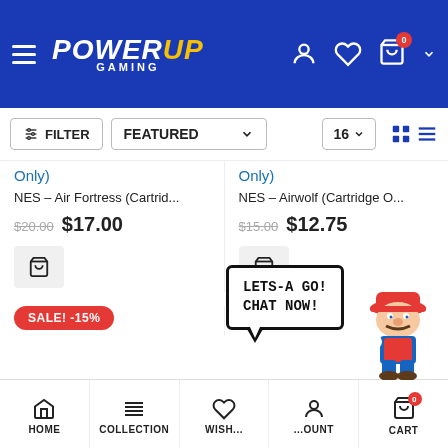PowerUp Gaming - Header navigation with logo, hamburger menu, user icon, wishlist icon, cart (0)
FILTER | FEATURED (dropdown) | 16 (per page) | Grid/List view toggle
Only)
Only)
NES – Air Fortress (Cartrid...
NES – Airwolf (Cartridge O...
$20.00  $17.00
$15.00  $12.75
SALE! -15%
SALE! -15%
[Figure (screenshot): Mario chat widget with 'LETS-A GO! CHAT NOW!' speech bubble]
HOME | COLLECTION | WISHLIST | ACCOUNT | CART (0)